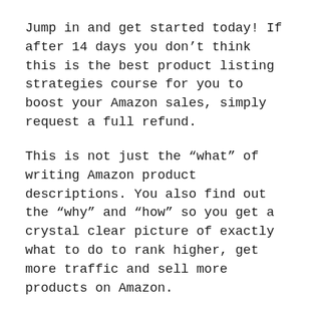Jump in and get started today! If after 14 days you don't think this is the best product listing strategies course for you to boost your Amazon sales, simply request a full refund.
This is not just the “what” of writing Amazon product descriptions. You also find out the “why” and “how” so you get a crystal clear picture of exactly what to do to rank higher, get more traffic and sell more products on Amazon.
“I have purchased a couple of ebooks that were – let us say – less than and no where near content rich. I went through the ‘Amazon Advantage’ product listing ebook and I am amazed at how much you packed into that document. The quality of the...